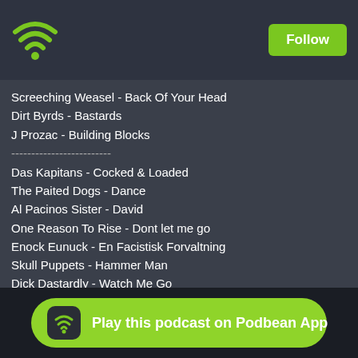[Figure (logo): Podbean wifi/radio logo and Follow button in dark top bar]
Screeching Weasel - Back Of Your Head
Dirt Byrds - Bastards
J Prozac - Building Blocks
-------------------------
Das Kapitans - Cocked & Loaded
The Paited Dogs - Dance
Al Pacinos Sister - David
One Reason To Rise - Dont let me go
Enock Eunuck - En Facistisk Forvaltning
Skull Puppets - Hammer Man
Dick Dastardly - Watch Me Go
Rat Pigeon - Three Titted Mutant Bitch
----------------------------------------
Caleb Caming - Trashy
**********************
[Figure (logo): Play this podcast on Podbean App button with wifi icon]